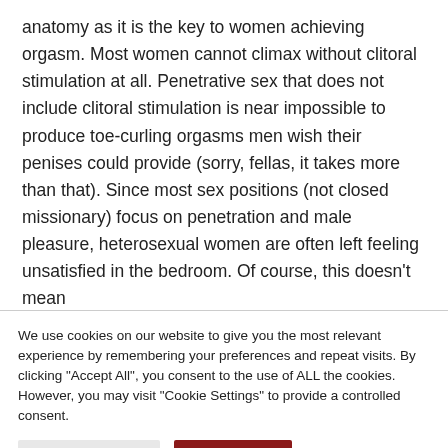anatomy as it is the key to women achieving orgasm. Most women cannot climax without clitoral stimulation at all. Penetrative sex that does not include clitoral stimulation is near impossible to produce toe-curling orgasms men wish their penises could provide (sorry, fellas, it takes more than that). Since most sex positions (not closed missionary) focus on penetration and male pleasure, heterosexual women are often left feeling unsatisfied in the bedroom. Of course, this doesn’t mean
We use cookies on our website to give you the most relevant experience by remembering your preferences and repeat visits. By clicking "Accept All", you consent to the use of ALL the cookies. However, you may visit "Cookie Settings" to provide a controlled consent.